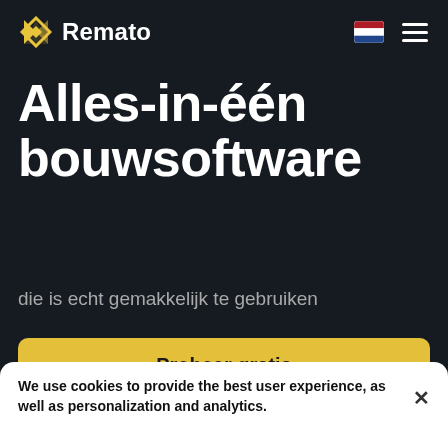[Figure (logo): Remato logo: yellow geometric icon and white bold 'Remato' text, with Netherlands flag and hamburger menu on the right]
Alles-in-één bouwsoftware
die is echt gemakkelijk te gebruiken
Probeer gratis
We use cookies to provide the best user experience, as well as personalization and analytics.